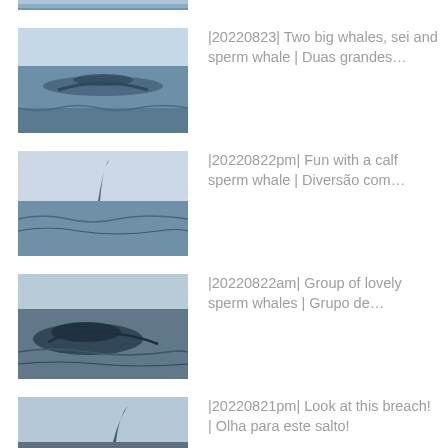[Figure (photo): Partial whale photo at top of page, ocean background]
|20220823| Two big whales, sei and sperm whale | Duas grandes…
|20220822pm| Fun with a calf sperm whale | Diversão com…
|20220822am| Group of lovely sperm whales | Grupo de…
|20220821pm| Look at this breach! | Olha para este salto!
|20220820pm2| Super …